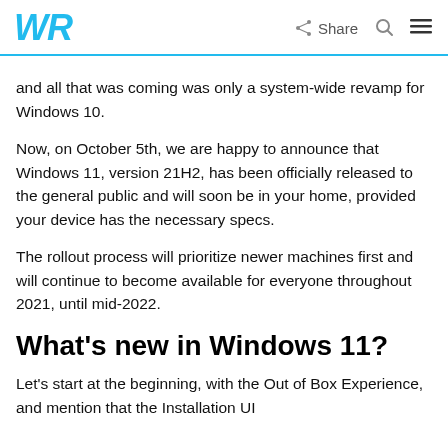WR  Share
and all that was coming was only a system-wide revamp for Windows 10.
Now, on October 5th, we are happy to announce that Windows 11, version 21H2, has been officially released to the general public and will soon be in your home, provided your device has the necessary specs.
The rollout process will prioritize newer machines first and will continue to become available for everyone throughout 2021, until mid-2022.
What's new in Windows 11?
Let's start at the beginning, with the Out of Box Experience, and mention that the Installation UI